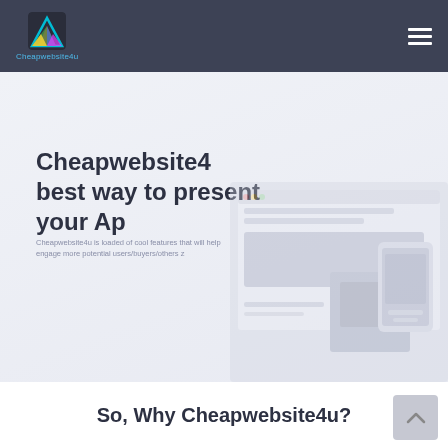Cheapwebsite4u
Cheapwebsite4
best way to present your Ap
Cheapwebsite4u is loaded of cool features that will help engage more potential users/buyers/others z
[Figure (screenshot): Faded mockup/screenshot of a website or app interface in the hero section background]
So, Why Cheapwebsite4u?